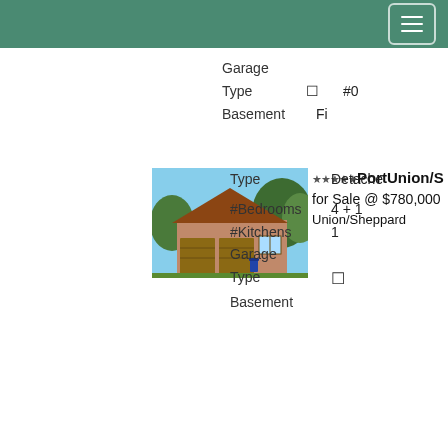Navigation header with menu button
Garage Type [symbol] #0
Basement Fi
[Figure (photo): Exterior photo of a detached brick house with two-car garage, green trees in background]
⭐⭐⭐⭐⭐PortUnion/S for Sale @ $780,000 Union/Sheppard
Type Detache
#Bedrooms 4 + 1
#Kitchens 1
Garage Type [symbol]
Basement